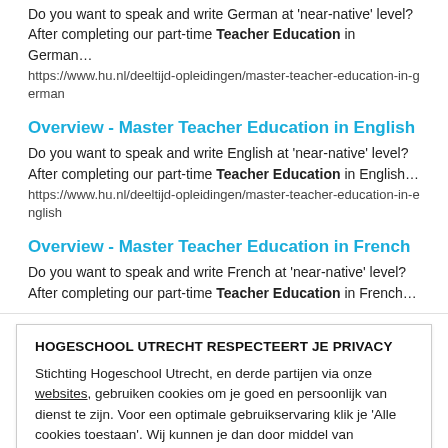Do you want to speak and write German at 'near-native' level? After completing our part-time Teacher Education in German…
https://www.hu.nl/deeltijd-opleidingen/master-teacher-education-in-german
Overview - Master Teacher Education in English
Do you want to speak and write English at 'near-native' level? After completing our part-time Teacher Education in English…
https://www.hu.nl/deeltijd-opleidingen/master-teacher-education-in-english
Overview - Master Teacher Education in French
Do you want to speak and write French at 'near-native' level? After completing our part-time Teacher Education in French…
HOGESCHOOL UTRECHT RESPECTEERT JE PRIVACY
Stichting Hogeschool Utrecht, en derde partijen via onze websites, gebruiken cookies om je goed en persoonlijk van dienst te zijn. Voor een optimale gebruikservaring klik je 'Alle cookies toestaan'. Wij kunnen je dan door middel van statistische en marketingcookies relevante informatie